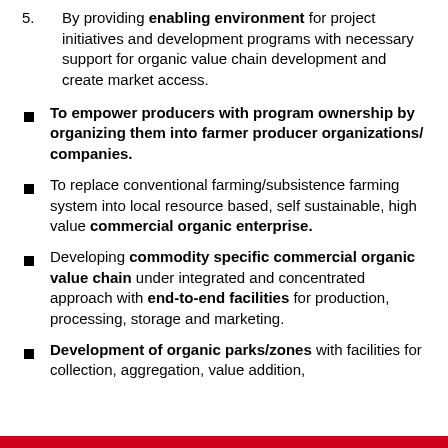5. By providing enabling environment for project initiatives and development programs with necessary support for organic value chain development and create market access.
To empower producers with program ownership by organizing them into farmer producer organizations/ companies.
To replace conventional farming/subsistence farming system into local resource based, self sustainable, high value commercial organic enterprise.
Developing commodity specific commercial organic value chain under integrated and concentrated approach with end-to-end facilities for production, processing, storage and marketing.
Development of organic parks/zones with facilities for collection, aggregation, value addition,